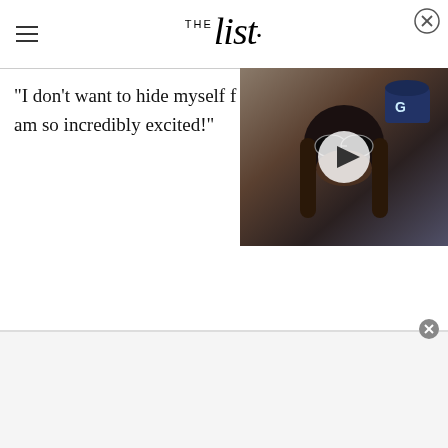THE List
"I don't want to hide myself f... am so incredibly excited!"
[Figure (screenshot): Video thumbnail showing a person with long dark hair and round dark sunglasses, with a white play button overlay in the center. Background includes what appears to be caps or memorabilia.]
[Figure (other): Advertisement area at the bottom of the page with a close (X) button in the top-right corner of the ad region.]